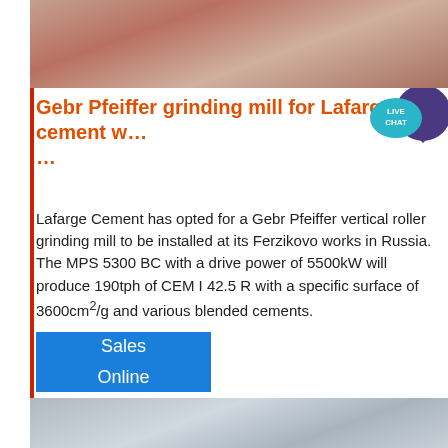[Figure (photo): Close-up photo of grinding mill components or cement material, pinkish/brownish tones]
Gebr Pfeiffer grinding mill for Lafarge cement w…
Lafarge Cement has opted for a Gebr Pfeiffer vertical roller grinding mill to be installed at its Ferzikovo works in Russia. The MPS 5300 BC with a drive power of 5500kW will produce 190tph of CEM I 42.5 R with a specific surface of 3600cm²/g and various blended cements.
[Figure (photo): Sales Online button — blue rectangle with white text]
[Figure (photo): Industrial machinery photo showing pipes, valves, and metal structures in grey tones]